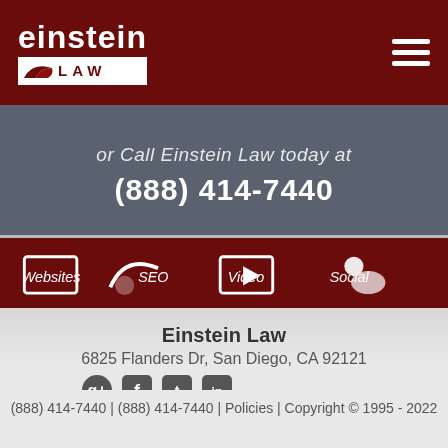[Figure (logo): Einstein Law logo: 'einstein' text above a white box containing a stylized bird/swoosh icon and 'LAW' text]
or Call Einstein Law today at (888) 414-7440
[Figure (infographic): Dark maroon banner with four service icons and labels: Websites, SEO, Video, Social]
Einstein Law
6825 Flanders Dr, San Diego, CA 92121
(888) 414-7440 | (888) 414-7440 | Policies | Copyright © 1995 - 2022